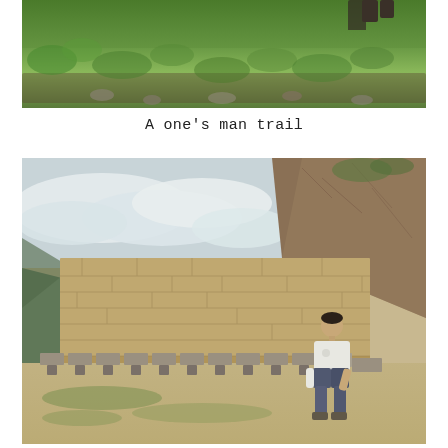[Figure (photo): Outdoor trail photo showing green grass, rocks, and a person's legs/feet visible at the top right corner of the frame, taken from below looking up a hillside path]
A one's man trail
[Figure (photo): A man in a white t-shirt and dark pants sitting on ancient stone bench/seating at what appears to be an Incan archaeological site, with a large stone wall behind him, misty mountains in the background, and a rocky cliff face to the right]